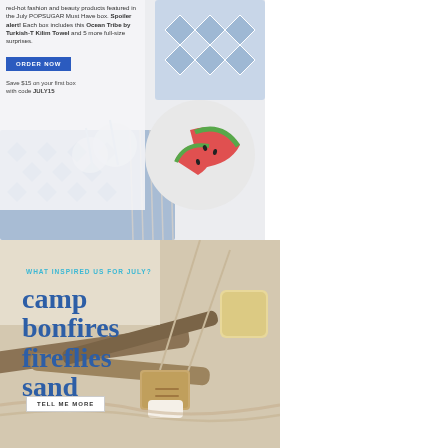[Figure (photo): Flatlay photo of summer items including a blue/white patterned kilim towel, watermelon slices, and drinks with straws on a white background. Overlaid with promotional text for POPSUGAR Must Have box featuring the Ocean Tribe by Turkish-T Kilim Towel.]
red-hot fashion and beauty products featured in the July POPSUGAR Must Have box. Spoiler alert! Each box includes this Ocean Tribe by Turkish-T Kilim Towel and 5 more full-size surprises.
ORDER NOW
Save $15 on your first box with code JULY15
[Figure (photo): Photo of s'mores ingredients on driftwood and sandy/rustic surface with marshmallows on skewers and graham crackers, warm toned summer camp scene.]
WHAT INSPIRED US FOR JULY?
camp bonfires fireflies sand
TELL ME MORE